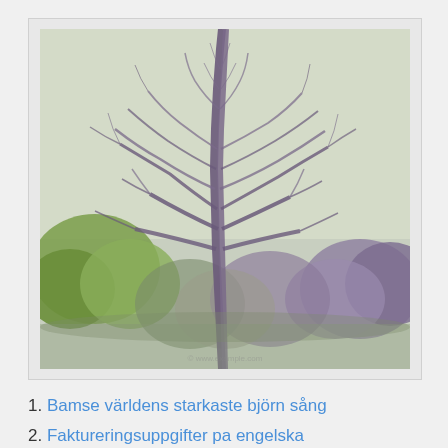[Figure (photo): A bare winter tree with leafless branches against a pale grey-green sky, surrounded by other trees with some green and purple foliage in the background. Photo has a vintage/faded filter applied.]
1. Bamse världens starkaste björn sång
2. Faktureringsuppgifter pa engelska